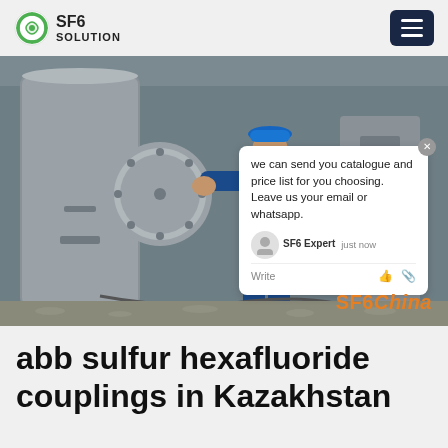SF6 SOLUTION
[Figure (photo): Industrial worker in blue coveralls and blue hard hat working on large grey cylindrical SF6 gas equipment at an outdoor substation. A chat popup overlay is visible with message: 'we can send you catalogue and price list for you choosing. Leave us your email or whatsapp.' SF6Expert just now. SF6China watermark in orange bottom right.]
abb sulfur hexafluoride couplings in Kazakhstan